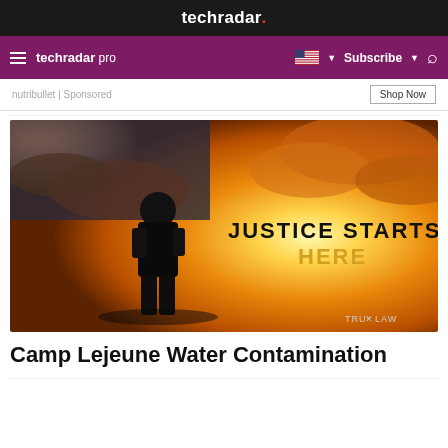techradar.
techradar pro  Subscribe
nutribullet | Sponsored
Shop Now
[Figure (photo): Soldier silhouette against a dramatic golden sunset sky with American flag in background. Text reads 'JUSTICE STARTS HERE' in bold letters. TRU LAW logo in bottom right corner.]
Camp Lejeune Water Contamination